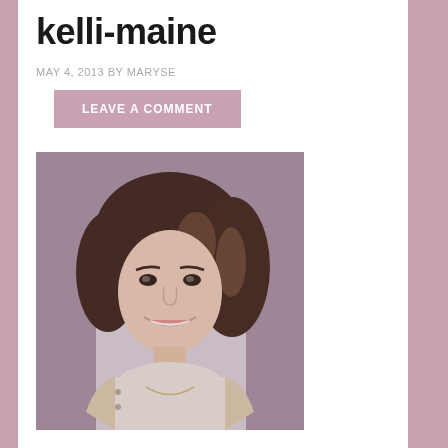kelli-maine
MAY 4, 2013 BY MARYSE
LEAVE A COMMENT
[Figure (photo): Portrait photo of a woman with shoulder-length wavy brown hair with highlights, smiling, wearing a white turtleneck and light-colored jacket with a necklace, posed against a brick wall background.]